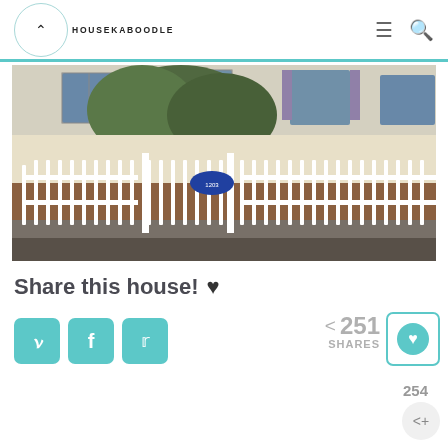HOUSEKABOODLE
[Figure (photo): House with white picket fence and gate, address plaque visible on gate post, large tree in front yard, two-story home with shutters in background]
Share this house! ♥
[Figure (infographic): Social sharing buttons: Pinterest (P), Facebook (f), Twitter bird icon in teal/turquoise rounded squares; share count showing 251 SHARES with share icon; save heart button in teal border box; bottom share count 254 with circular share button]